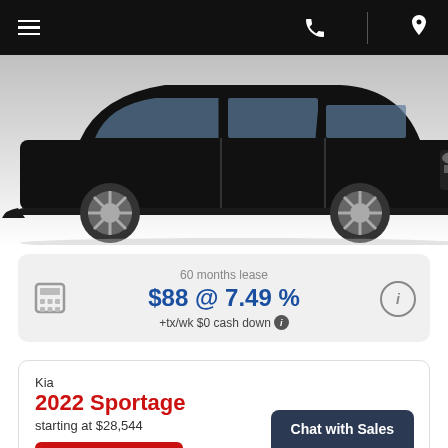Navigation bar with hamburger menu, phone icon, and location pin
[Figure (photo): Side view of a black Kia SUV on white/grey background]
60 months lease $88 @ 7.49 % +tx/wk $0 cash down
Kia
2022 Sportage
starting at $28,544
VALUE YOUR TRADE!
Chat with Sales